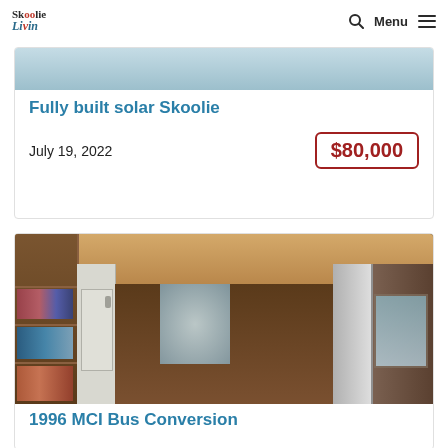Skoolie Livin  [search icon]  Menu  [hamburger icon]
Fully built solar Skoolie
July 19, 2022
$80,000
[Figure (photo): Interior of a converted school bus (skoolie) showing a long aisle with wood-paneled ceiling, shelving on the left with folded clothes, white cabinets and kitchen counter on the right, with windows at the far end.]
1996 MCI Bus Conversion